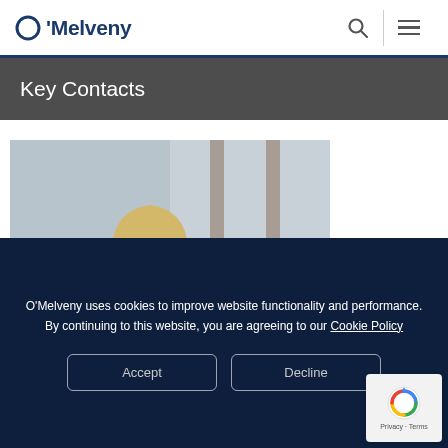O'Melveny
Key Contacts
[Figure (photo): Professional headshot of a blonde woman in a dark navy blazer, posed in front of floor-to-ceiling windows with a city skyline in the background.]
O'Melveny uses cookies to improve website functionality and performance. By continuing to this website, you are agreeing to our Cookie Policy
Accept
Decline